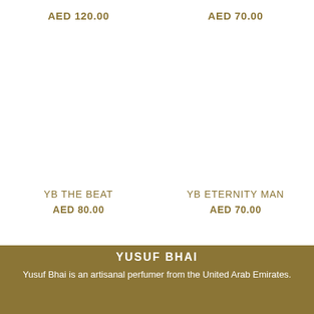AED 120.00
AED 70.00
YB THE BEAT
AED 80.00
YB ETERNITY MAN
AED 70.00
YUSUF BHAI
Yusuf Bhai is an artisanal perfumer from the United Arab Emirates.